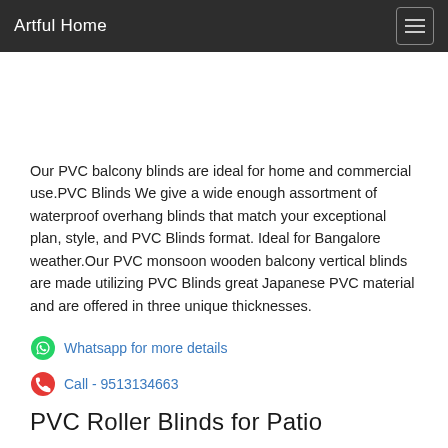Artful Home
Our PVC balcony blinds are ideal for home and commercial use.PVC Blinds We give a wide enough assortment of waterproof overhang blinds that match your exceptional plan, style, and PVC Blinds format. Ideal for Bangalore weather.Our PVC monsoon wooden balcony vertical blinds are made utilizing PVC Blinds great Japanese PVC material and are offered in three unique thicknesses.
Whatsapp for more details
Call - 9513134663
PVC Roller Blinds for Patio